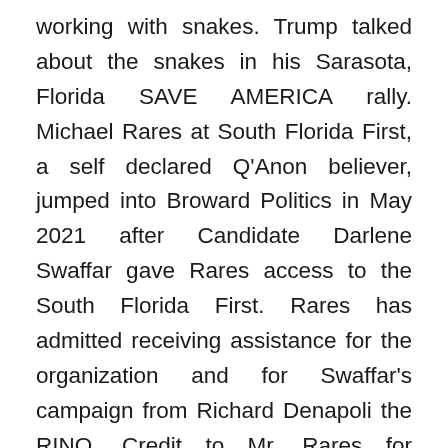working with snakes. Trump talked about the snakes in his Sarasota, Florida SAVE AMERICA rally. Michael Rares at South Florida First, a self declared Q'Anon believer, jumped into Broward Politics in May 2021 after Candidate Darlene Swaffar gave Rares access to the South Florida First. Rares has admitted receiving assistance for the organization and for Swaffar's campaign from Richard Denapoli the RINO. Credit to Mr. Rares for scrubbing his site of all pro-Denapoli political articles and replacing it with the precinct Project agenda of filling up the local GOP with activists. We here at DRS